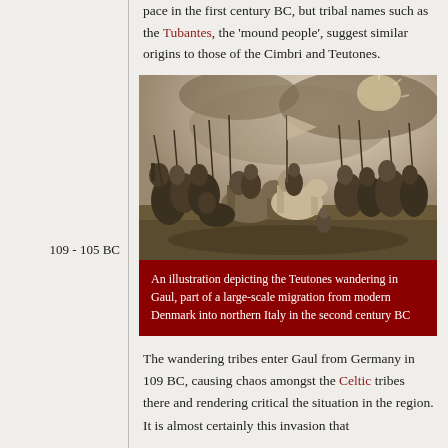pace in the first century BC, but tribal names such as the Tubantes, the 'mound people', suggest similar origins to those of the Cimbri and Teutones.
[Figure (illustration): A black and white engraving/illustration depicting the Teutones wandering in Gaul, showing a crowd of warriors, horses, and people migrating.]
An illustration depicting the Teutones wandering in Gaul, part of a large-scale migration from modern Denmark into northern Italy in the second century BC
109 - 105 BC
The wandering tribes enter Gaul from Germany in 109 BC, causing chaos amongst the Celtic tribes there and rendering critical the situation in the region. It is almost certainly this invasion that